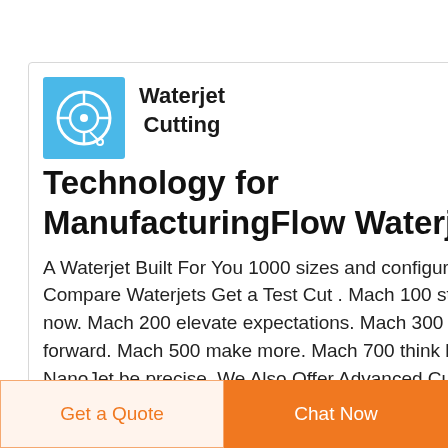[Figure (logo): Light blue square logo with waterjet/circular tool icon in white]
Waterjet Cutting Technology for ManufacturingFlow Waterjet
A Waterjet Built For You 1000 sizes and configurations Compare Waterjets Get a Test Cut . Mach 100 start now. Mach 200 elevate expectations. Mach 300 move forward. Mach 500 make more. Mach 700 think big. NanoJet be precise. We Also Offer Advanced Cutting
[Figure (illustration): Dark navy blue circular scroll-to-top button with white upward arrow]
Get a Quote
Chat Now